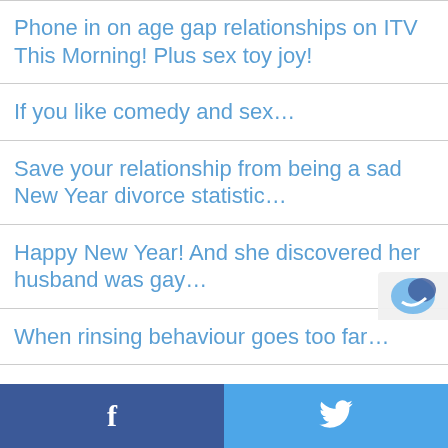Phone in on age gap relationships on ITV This Morning! Plus sex toy joy!
If you like comedy and sex…
Save your relationship from being a sad New Year divorce statistic…
Happy New Year! And she discovered her husband was gay…
When rinsing behaviour goes too far…
It's National Make Your Christmas Sexy Day PLUS giveaway…
Facebook  Twitter